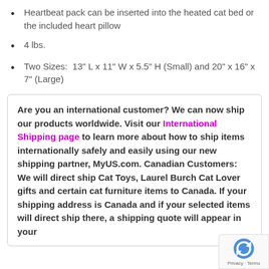Heartbeat pack can be inserted into the heated cat bed or the included heart pillow
4 lbs.
Two Sizes:  13" L x 11" W x 5.5" H (Small) and 20" x 16" x 7" (Large)
Are you an international customer? We can now ship our products worldwide. Visit our International Shipping page to learn more about how to ship items internationally safely and easily using our new shipping partner, MyUS.com. Canadian Customers: We will direct ship Cat Toys, Laurel Burch Cat Lover gifts and certain cat furniture items to Canada. If your shipping address is Canada and if your selected items will direct ship there, a shipping quote will appear in your